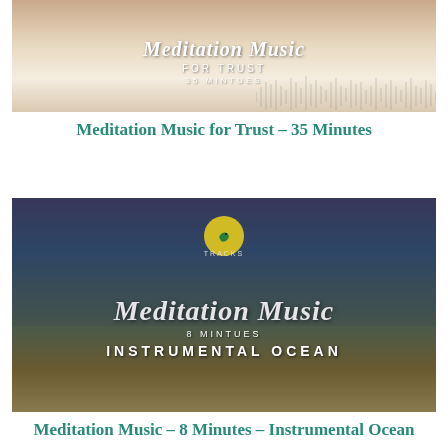[Figure (illustration): Album art thumbnail for 'Meditation Music for Trust – 35 Minutes'. Warm beige/cream tones with cursive white text overlay and audio waveform graphic on right side.]
Meditation Music for Trust – 35 Minutes
[Figure (illustration): Album art thumbnail for 'Meditation Music – 8 Minutes – Instrumental Ocean'. Dramatic stormy ocean sky with beach foreground, white cursive text overlay and yellow bird logo.]
Meditation Music – 8 Minutes – Instrumental Ocean